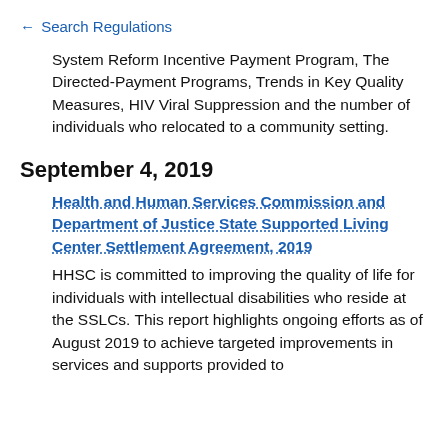← Search Regulations
System Reform Incentive Payment Program, The Directed-Payment Programs, Trends in Key Quality Measures, HIV Viral Suppression and the number of individuals who relocated to a community setting.
September 4, 2019
Health and Human Services Commission and Department of Justice State Supported Living Center Settlement Agreement, 2019
HHSC is committed to improving the quality of life for individuals with intellectual disabilities who reside at the SSLCs. This report highlights ongoing efforts as of August 2019 to achieve targeted improvements in services and supports provided to